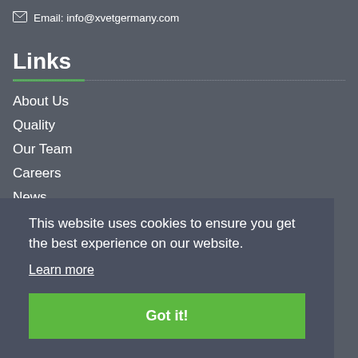Email: info@xvetgermany.com
Links
About Us
Quality
Our Team
Careers
News
This website uses cookies to ensure you get the best experience on our website.
Learn more
Got it!